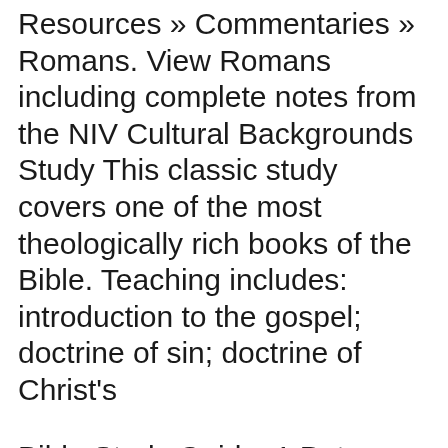Resources » Commentaries » Romans. View Romans including complete notes from the NIV Cultural Backgrounds Study This classic study covers one of the most theologically rich books of the Bible. Teaching includes: introduction to the gospel; doctrine of sin; doctrine of Christ's
Bible Study Guide: 1 Peter. Bible Study Guide: 1 John, 2 John, 3 John. American Bible Society is a 501 (c) (3) non profit organization. Romans 9:1-13 Bible Study: What About God's Promises to the Jews? begins Paul's treatment of charges against God's faithfulness to His promises.